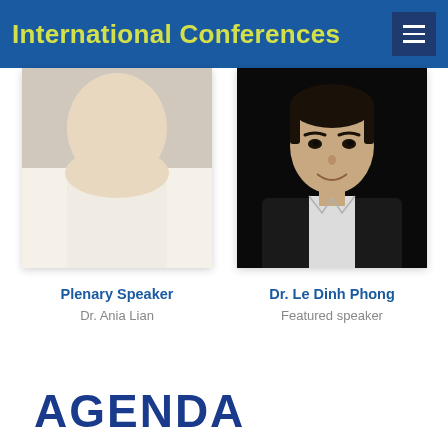International Conferences
[Figure (photo): Partial photo of Dr. Ania Lian (plenary speaker), showing only the lower portion of face/hair against light background]
Plenary Speaker
Dr. Ania Lian
[Figure (photo): Portrait photo of Dr. Le Dinh Phong, a man in a dark blazer with white shirt, smiling, against a dark background]
Dr. Le Dinh Phong
Featured speaker
AGENDA